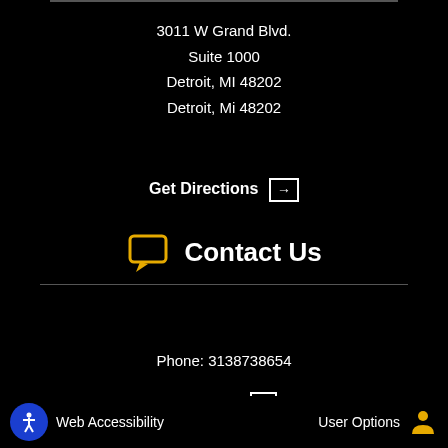3011 W Grand Blvd.
Suite 1000
Detroit, MI 48202
Detroit, Mi 48202
Get Directions →
Contact Us
Phone: 3138738654
Email Us →
Helpful Links
Web Accessibility
User Options